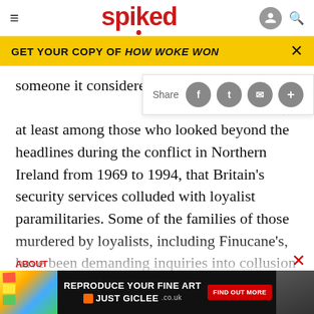spiked
GET YOUR COPY OF HOW WOKE WON
someone it considered a pest – is well known, at least among those who looked beyond the headlines during the conflict in Northern Ireland from 1969 to 1994, that Britain's security services colluded with loyalist paramilitaries. Some of the families of those murdered by loyalists, including Finucane's, have been demanding inquiries into collusion for ages. In the Eighties and Nineties, radical journalists, mainly in Ireland but also a few in Britain,
[Figure (screenshot): Advertisement banner for 'Just Giclee' art reproduction service with 'Find Out More' button]
ABOUT